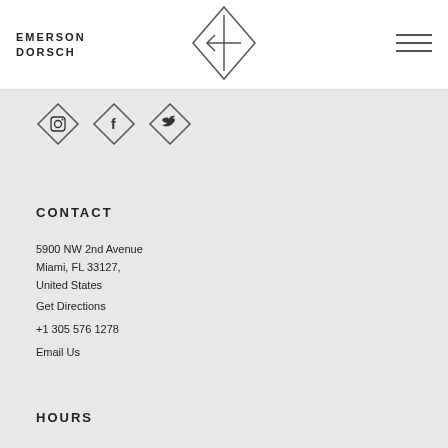EMERSON DORSCH
[Figure (logo): Diamond/kite shaped logo with arrow pointing left and vertical line, centered in header]
[Figure (illustration): Hamburger menu icon (three horizontal lines) in top right of header]
[Figure (illustration): Three diamond-shaped social media icons: Instagram, Facebook, Twitter]
CONTACT
5900 NW 2nd Avenue
Miami, FL 33127,
United States
Get Directions
+1 305 576 1278
Email Us
HOURS